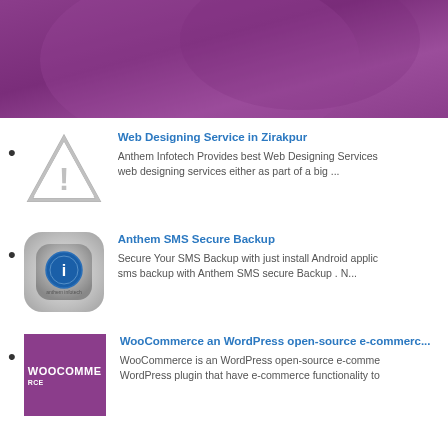[Figure (illustration): Purple/mauve gradient banner header background]
Web Designing Service in Zirakpur
Anthem Infotech Provides best Web Designing Services web designing services either as part of a big ...
Anthem SMS Secure Backup
Secure Your SMS Backup with just install Android applic sms backup with Anthem SMS secure Backup . N...
WooCommerce an WordPress open-source e-commerc...
WooCommerce is an WordPress open-source e-comme WordPress plugin that have e-commerce functionality to